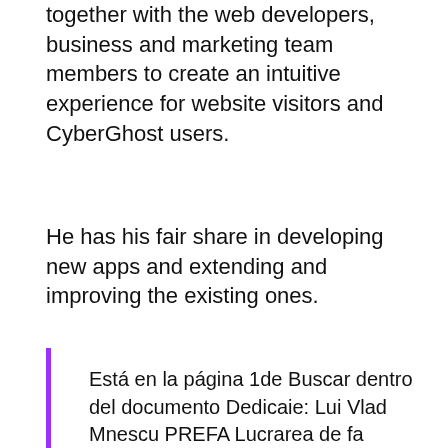together with the web developers, business and marketing team members to create an intuitive experience for website visitors and CyberGhost users.
He has his fair share in developing new apps and extending and improving the existing ones.
Está en la página 1de Buscar dentro del documento Dedicaie: Lui Vlad Mnescu PREFA Lucrarea de fa cuprinde cteva sute de biografii i discografii ale unor artiti i trupe care au abordat diverse stiluri i genuri muzicale, ca pop, rock, blues, soul, jaz i altele. Cartea este dedicat celor care doresc s-i fac o idee despre muzica i activitatea celor mai cunoscui artiti, mai noi i mai vechi, de la nceputul secolului i pn n zilele noastre. Totodat am inclus i un capitol de termeni muzicali la care cititorul poate apela pentru